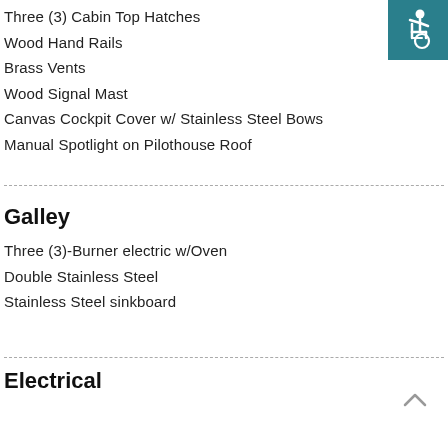[Figure (illustration): Accessibility wheelchair icon on teal/dark cyan background, top right corner]
Three (3) Cabin Top Hatches
Wood Hand Rails
Brass Vents
Wood Signal Mast
Canvas Cockpit Cover w/ Stainless Steel Bows
Manual Spotlight on Pilothouse Roof
Galley
Three (3)-Burner electric w/Oven
Double Stainless Steel
Stainless Steel sinkboard
Electrical